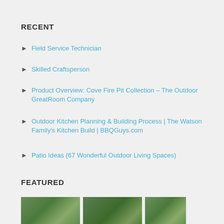RECENT
Field Service Technician
Skilled Craftsperson
Product Overview: Cove Fire Pit Collection – The Outdoor GreatRoom Company
Outdoor Kitchen Planning & Building Process | The Watson Family's Kitchen Build | BBQGuys.com
Patio Ideas (67 Wonderful Outdoor Living Spaces)
FEATURED
[Figure (photo): Featured images section showing outdoor/garden photos at the bottom of the page]